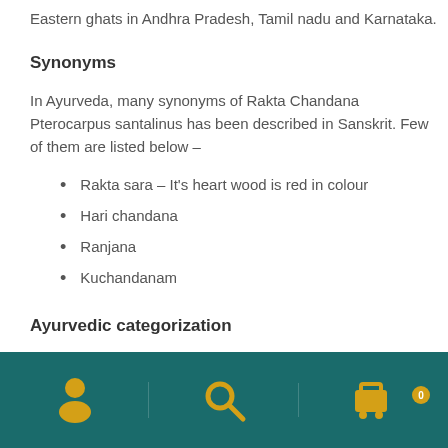Eastern ghats in Andhra Pradesh, Tamil nadu and Karnataka.
Synonyms
In Ayurveda, many synonyms of Rakta Chandana Pterocarpus santalinus has been described in Sanskrit. Few of them are listed below –
Rakta sara – It's heart wood is red in colour
Hari chandana
Ranjana
Kuchandanam
Ayurvedic categorization
[Figure (other): Bottom navigation bar with teal background containing user/account icon, search icon, and shopping cart icon with badge showing 0]